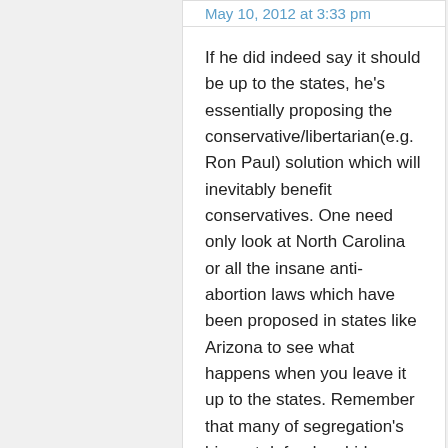May 10, 2012 at 3:33 pm
If he did indeed say it should be up to the states, he's essentially proposing the conservative/libertarian(e.g. Ron Paul) solution which will inevitably benefit conservatives. One need only look at North Carolina or all the insane anti-abortion laws which have been proposed in states like Arizona to see what happens when you leave it up to the states. Remember that many of segregation's biggest defenders hid beneath the banner of "states rights."
JohnR says:
May 10, 2012 at 4:24 pm
@oiojek: "Marriage is a religious institution"?! Not to put too fine a point on it, but baloney! Marriage